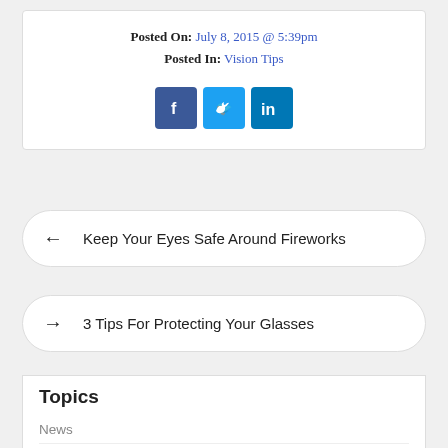Posted On: July 8, 2015 @ 5:39pm
Posted In: Vision Tips
[Figure (infographic): Social media share buttons: Facebook (dark blue), Twitter (light blue), LinkedIn (blue)]
← Keep Your Eyes Safe Around Fireworks
→ 3 Tips For Protecting Your Glasses
Topics
News
Uncategorized